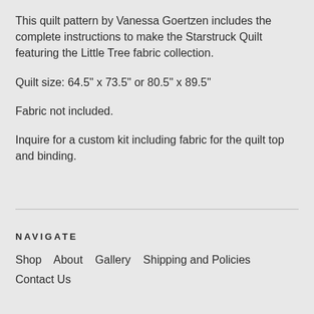This quilt pattern by Vanessa Goertzen includes the complete instructions to make the Starstruck Quilt featuring the Little Tree fabric collection.
Quilt size: 64.5" x 73.5" or 80.5" x 89.5"
Fabric not included.
Inquire for a custom kit including fabric for the quilt top and binding.
NAVIGATE
Shop   About   Gallery   Shipping and Policies   Contact Us